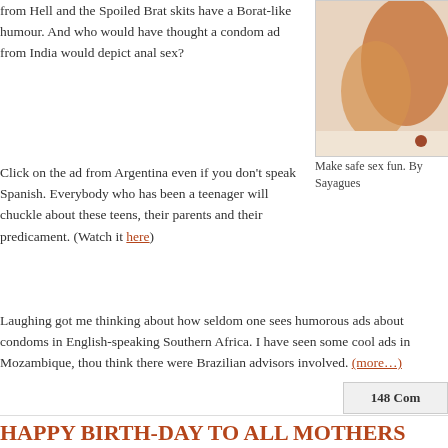from Hell and the Spoiled Brat skits have a Borat-like humour.  And who would have thought a condom ad from India would depict anal sex?
[Figure (photo): Partial image visible on right side, appears to show a painted or artistic figure in orange/brown tones]
Make safe sex fun. By Sayagues
Click on the ad from Argentina even if you don't speak Spanish.  Everybody who has been a teenager will chuckle about these teens, their parents and their predicament. (Watch it here)
Laughing got me thinking about how seldom one sees humorous ads about condoms in English-speaking Southern Africa. I have seen some cool ads in Mozambique, though think there were Brazilian advisors involved. (more…)
148 Comments
HAPPY BIRTH-DAY TO ALL MOTHERS
Posted on September 7, 2009, by mercedes, under Gender Masala, children, health, humour, reproductive health, stereotypes, women, men and more.
[Figure (photo): Thumbnail photo with dark green/nature background]